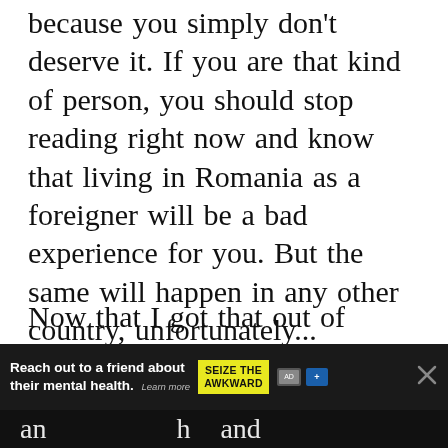because you simply don't deserve it. If you are that kind of person, you should stop reading right now and know that living in Romania as a foreigner will be a bad experience for you. But the same will happen in any other country, unfortunately...
Now that I got that out of the system, let's get straight to business and see how is life like in Romania for foreigners – based on my own experience and research, but also based on the talks I've had with various people who have made the move and...
[Figure (other): UI overlay with teal heart/like button and share icon with count of 14]
[Figure (other): Advertisement banner: 'Reach out to a friend about their mental health. Learn more' with 'SEIZE THE AWKWARD' yellow badge and close button]
and... [cut off] ...h... and [bottom of page cut off]